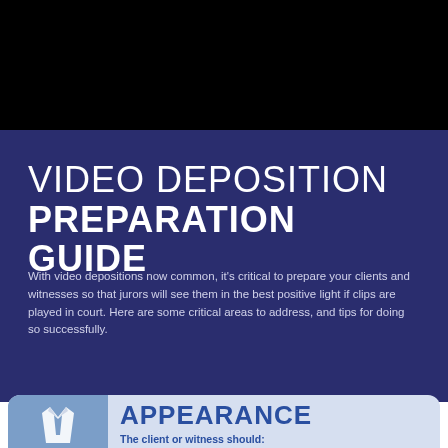VIDEO DEPOSITION PREPARATION GUIDE
With video depositions now common, it's critical to prepare your clients and witnesses so that jurors will see them in the best positive light if clips are played in court. Here are some critical areas to address, and tips for doing so successfully.
APPEARANCE
The client or witness should:
Dress professionally, but not to the extent that he or